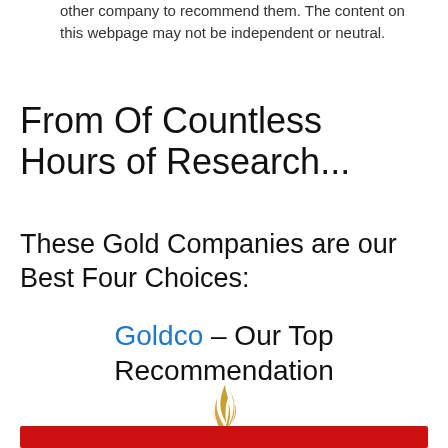other company to recommend them. The content on this webpage may not be independent or neutral.
From Of Countless Hours of Research...
These Gold Companies are our Best Four Choices:
Goldco – Our Top Recommendation
[Figure (logo): Goldco logo with golden flame icon above stylized GOLDCO text with registered trademark symbol]
[Figure (other): Red button/banner at bottom of page]